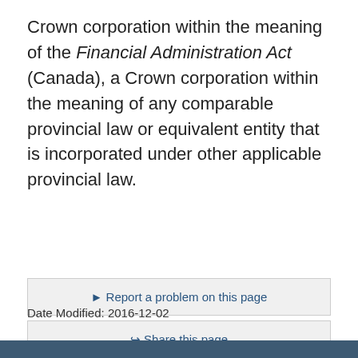Crown corporation within the meaning of the Financial Administration Act (Canada), a Crown corporation within the meaning of any comparable provincial law or equivalent entity that is incorporated under other applicable provincial law.
▶ Report a problem on this page
⎋ Share this page
Date Modified: 2016-12-02